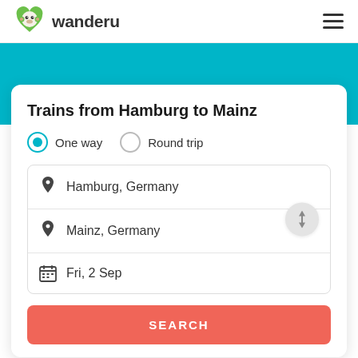wanderu
[Figure (logo): Wanderu green monkey logo with heart shape]
Trains from Hamburg to Mainz
One way  Round trip
Hamburg, Germany
Mainz, Germany
Fri, 2 Sep
SEARCH